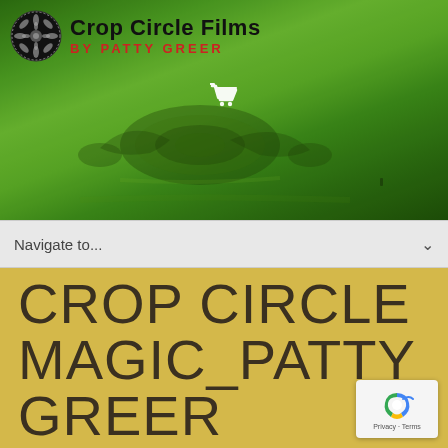[Figure (photo): Website header banner showing green crop circle field aerial photo with 'Crop Circle Films by Patty Greer' logo, circular mandala logo icon on left, bold black text 'Crop Circle Films' and red text 'BY PATTY GREER', white shopping cart icon in center of banner]
Navigate to...
CROP CIRCLE MAGIC_PATTY GREER